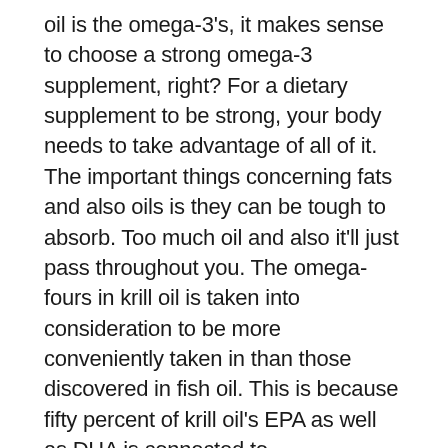oil is the omega-3's, it makes sense to choose a strong omega-3 supplement, right? For a dietary supplement to be strong, your body needs to take advantage of all of it. The important things concerning fats and also oils is they can be tough to absorb. Too much oil and also it'll just pass throughout you. The omega- fours in krill oil is taken into consideration to be more conveniently taken in than those discovered in fish oil. This is because fifty percent of krill oil's EPA as well as DHA is connected to 'phospholipids,' which are easier to absorb than the ordinary 'triglycerides' in fish oil. An additional perk that krill oil has, is that it's considered to be really steady and also devoid of heavy metals.2.